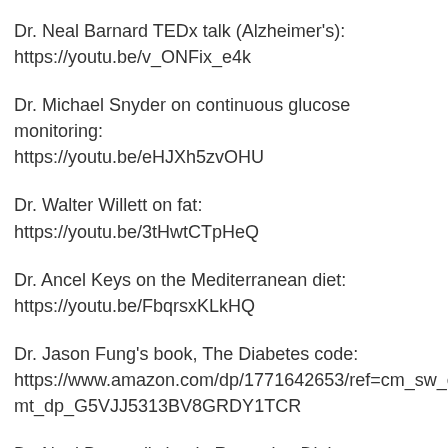Dr. Neal Barnard TEDx talk (Alzheimer's):
https://youtu.be/v_ONFix_e4k
Dr. Michael Snyder on continuous glucose monitoring:
https://youtu.be/eHJXh5zvOHU
Dr. Walter Willett on fat: https://youtu.be/3tHwtCTpHeQ
Dr. Ancel Keys on the Mediterranean diet:
https://youtu.be/FbqrsxKLkHQ
Dr. Jason Fung's book, The Diabetes code:
https://www.amazon.com/dp/1771642653/ref=cm_sw_em_r_mt_dp_G5VJJ5313BV8GRDY1TCR
Dr. Neal Barnard's book, Reversing Diabetes: